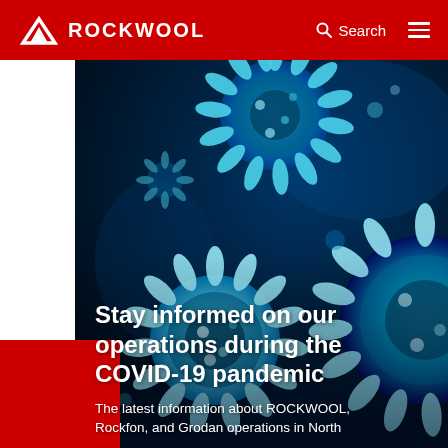ROCKWOOL — Search [navigation bar]
[Figure (photo): Close-up microscopic illustration of COVID-19 coronavirus particles in blue tones against a dark blue background. Multiple spiky virus particles are visible in varying sizes.]
Stay informed on our operations during the COVID-19 pandemic
The latest information about ROCKWOOL, Rockfon, and Grodan operations in North